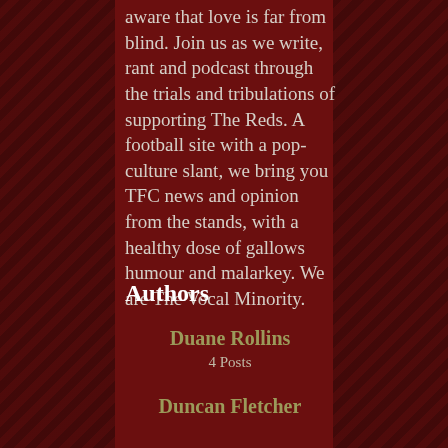aware that love is far from blind. Join us as we write, rant and podcast through the trials and tribulations of supporting The Reds. A football site with a pop-culture slant, we bring you TFC news and opinion from the stands, with a healthy dose of gallows humour and malarkey. We are The Vocal Minority.
Authors
Duane Rollins
4 Posts
Duncan Fletcher